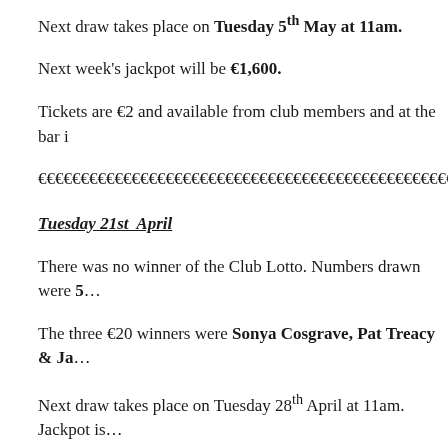Next draw takes place on Tuesday 5th May at 11am.
Next week's jackpot will be €1,600.
Tickets are €2 and available from club members and at the bar i…
€€€€€€€€€€€€€€€€€€€€€€€€€€€€€€€€€€€€€€€€€€€€€€€€€€€€€€€€€€€€€€€€€€€€€€€€€€€€€€€€€€€€€€€€€€€€€€€€€€€€€€€€€€€€€€€€€€€€
Tuesday 21st April
There was no winner of the Club Lotto. Numbers drawn were 5…
The three €20 winners were Sonya Cosgrave, Pat Treacy & Ja…
Next draw takes place on Tuesday 28th April at 11am. Jackpot is…
Tickets are €2 and available from club members and at the bar i…
***********************************************